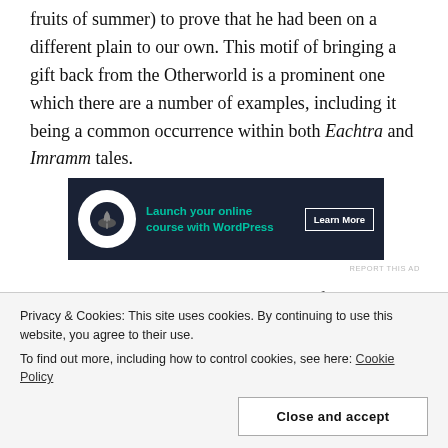fruits of summer) to prove that he had been on a different plain to our own. This motif of bringing a gift back from the Otherworld is a prominent one which there are a number of examples, including it being a common occurrence within both Eachtra and Imramm tales.
[Figure (other): Advertisement banner: dark navy background with bonsai tree icon, text 'Launch your online course with WordPress' in teal, and 'Learn More' button in white border.]
REPORT THIS AD
It can also be accessed through bodies of water, such
Privacy & Cookies: This site uses cookies. By continuing to use this website, you agree to their use.
To find out more, including how to control cookies, see here: Cookie Policy
Close and accept